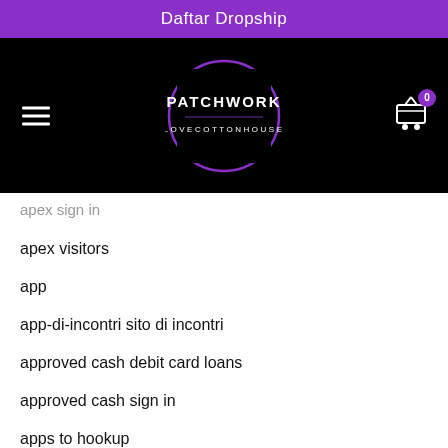Daftar Dropship
[Figure (logo): Patchwork Lovecottonhouse logo — circular purple-outlined logo with text PATCHWORK LOVECOTTONHOUSE on black background, with hamburger menu icon on the left and a shopping cart icon with badge '0' on the right]
apex sign in
apex visitors
app
app-di-incontri sito di incontri
approved cash debit card loans
approved cash sign in
apps to hookup
arablounge online dating
Arablounge review